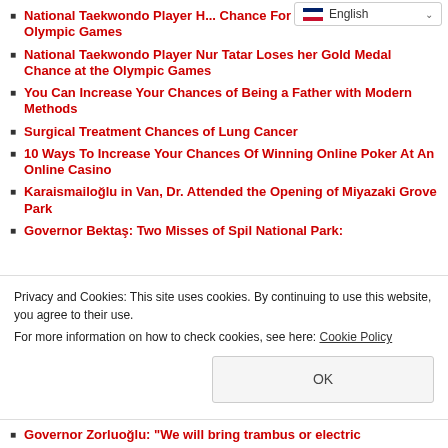[Figure (screenshot): Language selector dropdown showing English with flag icon]
National Taekwondo Player H... Chance For The Gold Medal In The Olympic Games
National Taekwondo Player Nur Tatar Loses her Gold Medal Chance at the Olympic Games
You Can Increase Your Chances of Being a Father with Modern Methods
Surgical Treatment Chances of Lung Cancer
10 Ways To Increase Your Chances Of Winning Online Poker At An Online Casino
Karaismailoğlu in Van, Dr. Attended the Opening of Miyazaki Grove Park
Governor Bektaş: Two Misses of Spil National Park:
Privacy and Cookies: This site uses cookies. By continuing to use this website, you agree to their use.
For more information on how to check cookies, see here: Cookie Policy
Governor Zorluoğlu: "We will bring trambus or electric